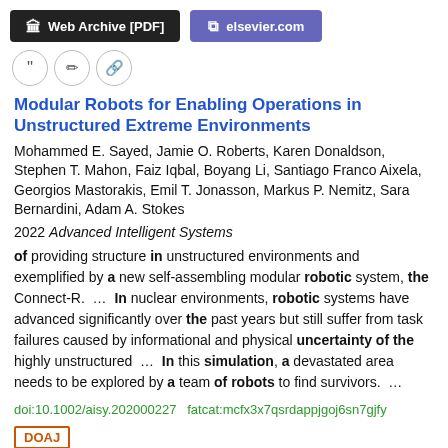Web Archive [PDF]   elsevier.com
Modular Robots for Enabling Operations in Unstructured Extreme Environments
Mohammed E. Sayed, Jamie O. Roberts, Karen Donaldson, Stephen T. Mahon, Faiz Iqbal, Boyang Li, Santiago Franco Aixela, Georgios Mastorakis, Emil T. Jonasson, Markus P. Nemitz, Sara Bernardini, Adam A. Stokes
2022 Advanced Intelligent Systems
of providing structure in unstructured environments and exemplified by a new self-assembling modular robotic system, the Connect-R. ... In nuclear environments, robotic systems have advanced significantly over the past years but still suffer from task failures caused by informational and physical uncertainty of the highly unstructured ... In this simulation, a devastated area needs to be explored by a team of robots to find survivors. ...
doi:10.1002/aisy.202000227  fatcat:mcfx3x7qsrdappjgoj6sn7gjfy
DOAJ